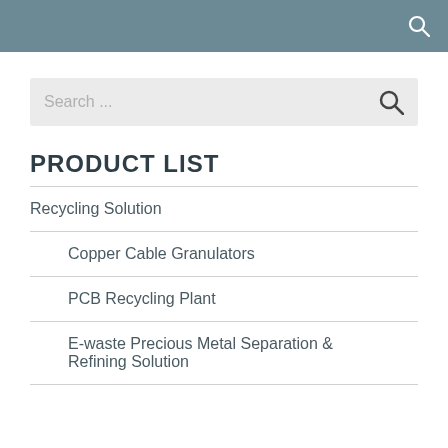Search ...
PRODUCT LIST
Recycling Solution
Copper Cable Granulators
PCB Recycling Plant
E-waste Precious Metal Separation & Refining Solution